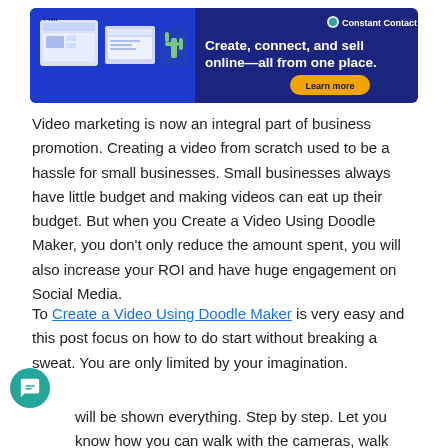[Figure (infographic): Constant Contact advertisement banner: dark blue background with website mockups on the left, headline 'Create, connect, and sell online—all from one place.' and 'Learn more' button on the right, Constant Contact logo in top right corner.]
Video marketing is now an integral part of business promotion. Creating a video from scratch used to be a hassle for small businesses. Small businesses always have little budget and making videos can eat up their budget. But when you Create a Video Using Doodle Maker, you don't only reduce the amount spent, you will also increase your ROI and have huge engagement on Social Media.
To Create a Video Using Doodle Maker is very easy and this post focus on how to do start without breaking a sweat. You are only limited by your imagination.
will be shown everything. Step by step. Let you know how you can walk with the cameras, walk with voice